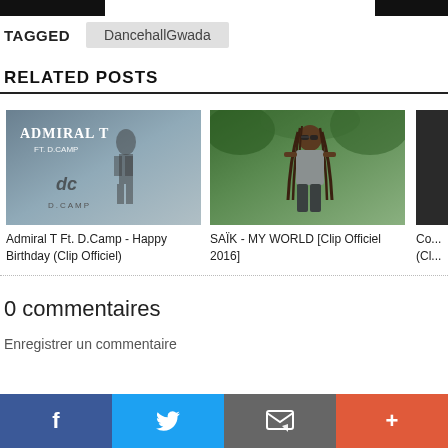TAGGED   DancehallGwada
RELATED POSTS
[Figure (photo): Admiral T Ft. D.Camp promotional image with text 'Admiral T ft. D.Camp' and logo]
Admiral T Ft. D.Camp - Happy Birthday (Clip Officiel)
[Figure (photo): SAÏK artist photo outdoors with dreadlocks]
SAÏK - MY WORLD [Clip Officiel 2016]
[Figure (photo): Partially visible third post thumbnail (cut off)]
Co... (Cl...
0 commentaires
Enregistrer un commentaire